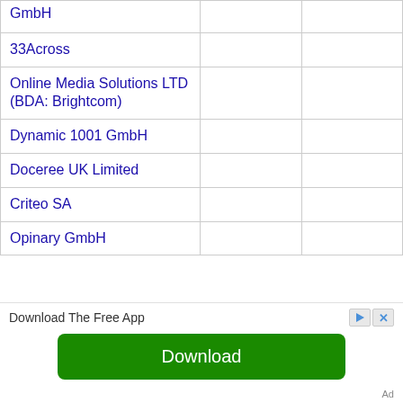| GmbH |  |  |
| 33Across |  |  |
| Online Media Solutions LTD (BDA: Brightcom) |  |  |
| Dynamic 1001 GmbH |  |  |
| Doceree UK Limited |  |  |
| Criteo SA |  |  |
| Opinary GmbH |  |  |
Download The Free App
Download
Ad